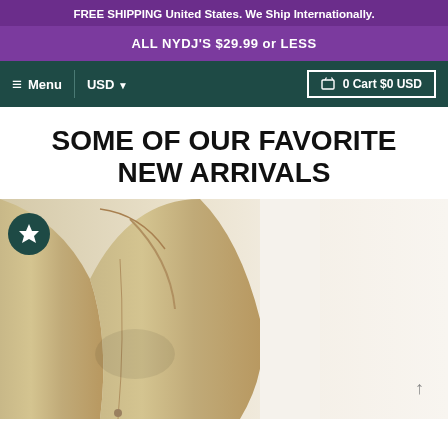FREE SHIPPING United States. We Ship Internationally.
ALL NYDJ'S $29.99 or LESS
≡ Menu  USD ▾  🛒 0 Cart $0 USD
SOME OF OUR FAVORITE NEW ARRIVALS
[Figure (photo): Close-up photo of a person wearing khaki/tan pants against a light background, with a dark teal circular star badge in the top-left corner.]